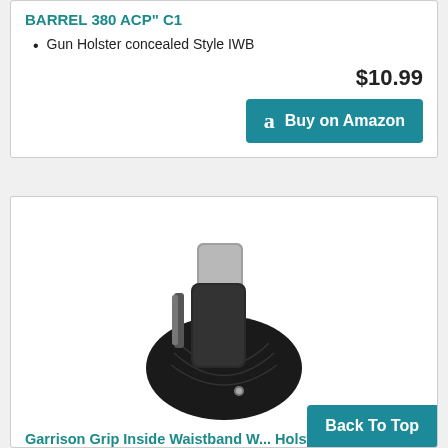BARREL 380 ACP" C1
Gun Holster concealed Style IWB
$10.99
Buy on Amazon
[Figure (photo): Black gun holster (IWB style) with a silver/grey pistol partially inserted, showing the grip and slide. The holster is made of dark textured fabric/neoprene material with a metal clip.]
Garrison Grip Inside Waistband W... Holster Fits Beretta Pico 380 IWB (S1)
Back To Top